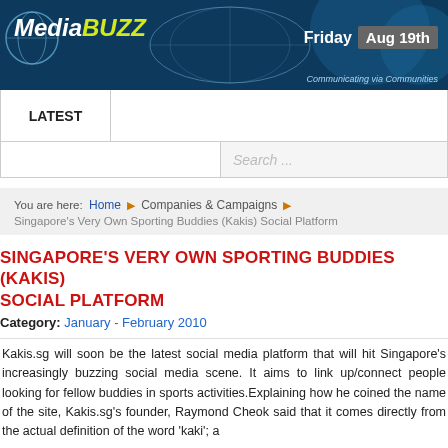[Figure (screenshot): MediaBuzz website header banner with logo, globe graphic, world map silhouette, date showing Friday Aug 19th, and tagline 'Communicating via Communities']
LATEST
Search ...
You are here: Home ▶ Companies & Campaigns ▶ Singapore's Very Own Sporting Buddies (Kakis) Social Platform
SINGAPORE'S VERY OWN SPORTING BUDDIES (KAKIS) SOCIAL PLATFORM
Category: January - February 2010
Kakis.sg will soon be the latest social media platform that will hit Singapore's increasingly buzzing social media scene. It aims to link up/connect people looking for fellow buddies in sports activities.Explaining how he coined the name of the site, Kakis.sg's founder, Raymond Cheok said that it comes directly from the actual definition of the word 'kaki'; a